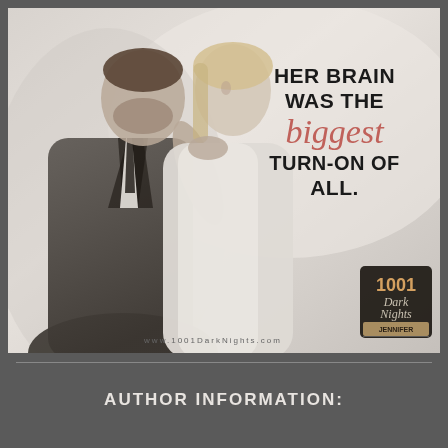[Figure (illustration): Black and white/desaturated romantic photo of a man in a dark suit and a woman in white, close together face-to-face. Text overlay reads: 'Her brain was the biggest turn-on of all.' with the word 'biggest' in italic script. A 1001 Dark Nights logo badge appears in the lower right corner. Website URL www.1001DarkNights.com appears at the bottom.]
AUTHOR INFORMATION: